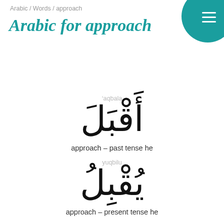Arabic / Words / approach
Arabic for approach
'aqbala
[Figure (other): Large Arabic word أَقْبَلَ (aqbala) displayed in large black font]
approach – past tense he
yuqbilu
[Figure (other): Large Arabic word يُقْبِلُ (yuqbilu) displayed in large black font]
approach – present tense he
The Arabic verb for approach is written أَقْبَلَ and pronounced 'aqbala in its basic form (past tense masculinum singular). In present tense, the verb is written يُقْبِلُ and pronounced yuqbilu. See more